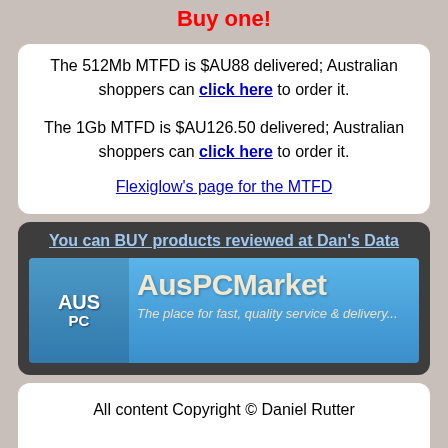Buy one!
The 512Mb MTFD is $AU88 delivered; Australian shoppers can click here to order it.
The 1Gb MTFD is $AU126.50 delivered; Australian shoppers can click here to order it.
Flexiglow's page for the MTFD
You can BUY products reviewed at Dan's Data
[Figure (logo): AusPCMarket banner logo - The place for fast, quality service & delivery...]
All content Copyright © Daniel Rutter